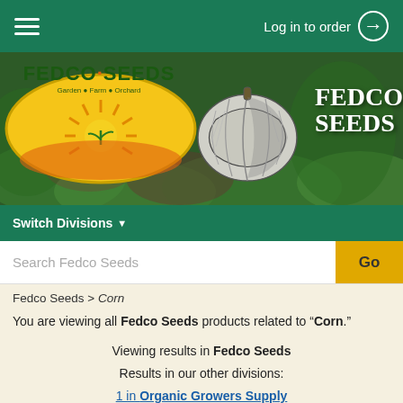Log in to order
[Figure (logo): Fedco Seeds logo with sun rays and plant on yellow oval, text Garden Farm Orchard, and illustrated pumpkin with FEDCO SEEDS text on green background]
Switch Divisions
Search Fedco Seeds
Go
Fedco Seeds > Corn
You are viewing all Fedco Seeds products related to "Corn."
Viewing results in Fedco Seeds
Results in our other divisions:
1 in Organic Growers Supply
CORN